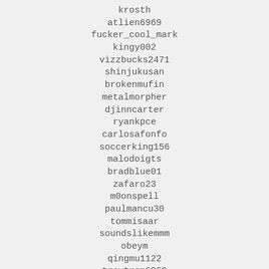krosth
atlien6969
fucker_cool_mark
kingy002
vizzbucks2471
shinjukusan
brokenmufin
metalmorpher
djinncarter
ryankpce
carlosafonfo
soccerking156
malodoigts
bradblue01
zafaro23
m0onspell
paulmancu30
tommisaar
soundslikemmm
obeym
qingmu1122
trevtrem6969
vvuyyyy
dziadek23